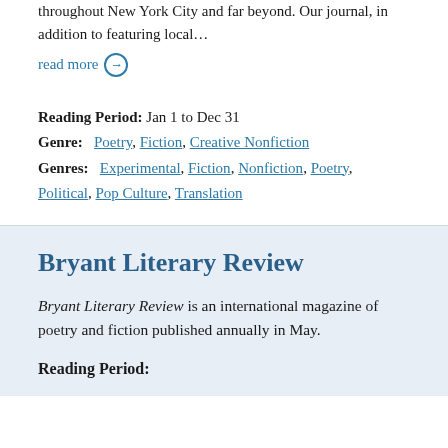throughout New York City and far beyond.  Our journal, in addition to featuring local…
read more →
Reading Period:  Jan 1 to Dec 31
Genre:   Poetry, Fiction, Creative Nonfiction
Genres:   Experimental, Fiction, Nonfiction, Poetry, Political, Pop Culture, Translation
Bryant Literary Review
Bryant Literary Review is an international magazine of poetry and fiction published annually in May.
Reading Period: